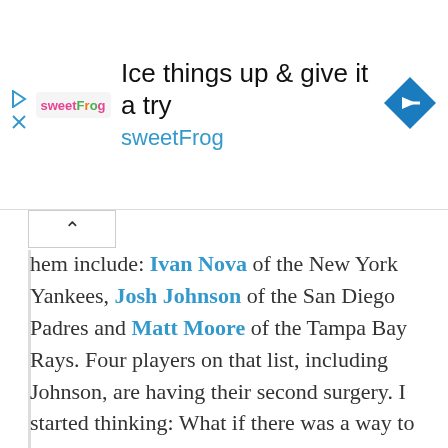[Figure (screenshot): Advertisement banner for sweetFrog frozen yogurt. Shows sweetFrog logo on the left, headline text 'Ice things up & give it a try' and brand name 'sweetFrog' in center, and a blue diamond navigation/arrow icon on the right. Small play and close icons on far left.]
hem include: Ivan Nova of the New York Yankees, Josh Johnson of the San Diego Padres and Matt Moore of the Tampa Bay Rays. Four players on that list, including Johnson, are having their second surgery. I started thinking: What if there was a way to avoid these injuries?